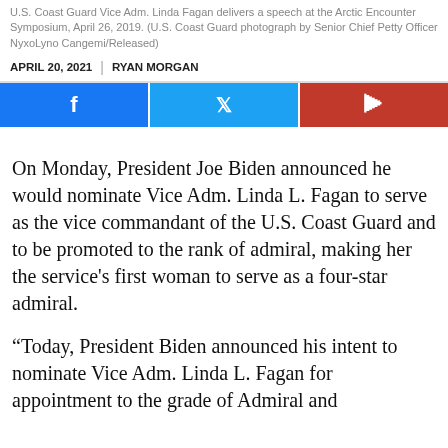U.S. Coast Guard Vice Adm. Linda Fagan delivers a speech at the Arctic Encounter Symposium, April 26, 2019. (U.S. Coast Guard photograph by Senior Chief Petty Officer NyxoLyno Cangemi/Released)
APRIL 20, 2021  |  RYAN MORGAN
[Figure (other): Social share buttons row: Facebook (blue), Twitter (light blue), Flipboard (red)]
On Monday, President Joe Biden announced he would nominate Vice Adm. Linda L. Fagan to serve as the vice commandant of the U.S. Coast Guard and to be promoted to the rank of admiral, making her the service’s first woman to serve as a four-star admiral.
“Today, President Biden announced his intent to nominate Vice Adm. Linda L. Fagan for appointment to the grade of Admiral and…